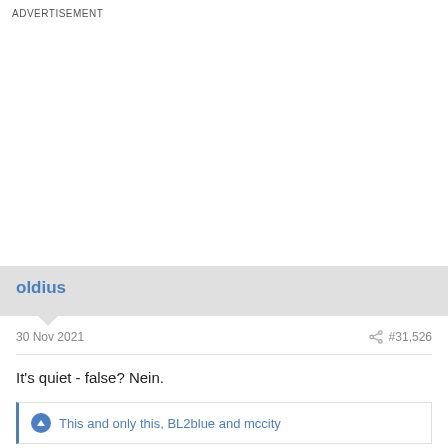ADVERTISEMENT
oldius
30 Nov 2021   #31,526
It's quiet - false? Nein.
This and only this, BL2blue and mccity